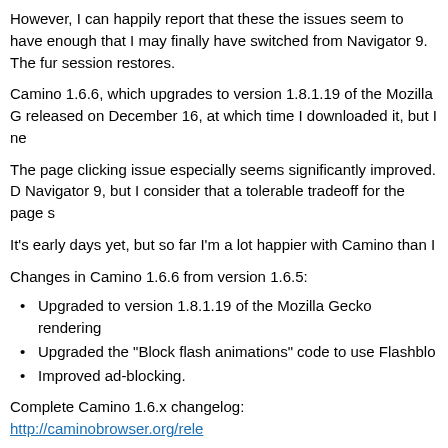However, I can happily report that these the issues seem to have enough that I may finally have switched from Navigator 9. The fur session restores.
Camino 1.6.6, which upgrades to version 1.8.1.19 of the Mozilla G released on December 16, at which time I downloaded it, but I ne
The page clicking issue especially seems significantly improved. D Navigator 9, but I consider that a tolerable tradeoff for the page s
It's early days yet, but so far I'm a lot happier with Camino than I
Changes in Camino 1.6.6 from version 1.6.5:
Upgraded to version 1.8.1.19 of the Mozilla Gecko rendering
Upgraded the "Block flash animations" code to use Flashblo
Improved ad-blocking.
Complete Camino 1.6.x changelog: http://caminobrowser.org/rele
For a full list of Camino 1.6.x features, visit: http://caminobrowser
System Requirements